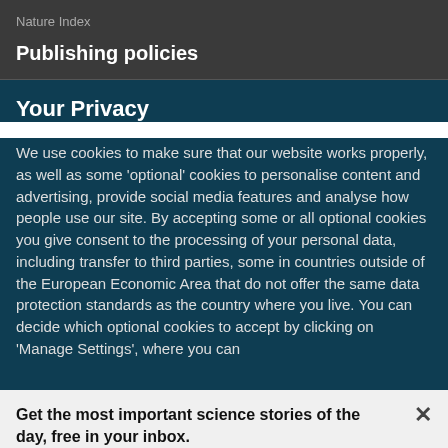Nature Index
Publishing policies
Your Privacy
We use cookies to make sure that our website works properly, as well as some 'optional' cookies to personalise content and advertising, provide social media features and analyse how people use our site. By accepting some or all optional cookies you give consent to the processing of your personal data, including transfer to third parties, some in countries outside of the European Economic Area that do not offer the same data protection standards as the country where you live. You can decide which optional cookies to accept by clicking on 'Manage Settings', where you can
Get the most important science stories of the day, free in your inbox.
Sign up for Nature Briefing